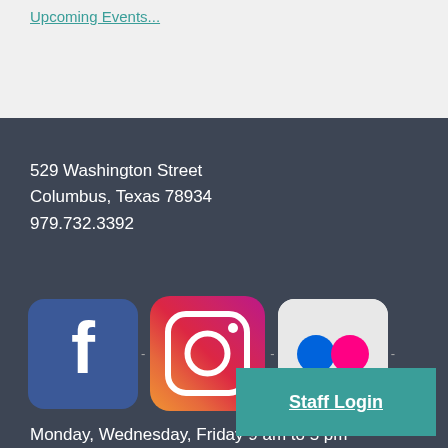Upcoming Events...
529 Washington Street
Columbus, Texas 78934
979.732.3392
[Figure (logo): Facebook, Instagram, and Flickr social media icons with dashes between them]
Monday, Wednesday, Friday 9 am to 5 pm
Tuesday, Thursday 10 am to 6 pm
Saturday 10 am to 2 pm
Staff Login